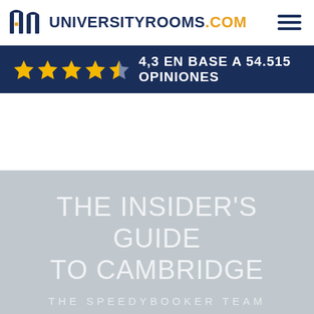[Figure (logo): UniversityRooms.com logo with building icon in navy/orange colors and hamburger menu icon]
[Figure (infographic): Dark navy banner with gold star rating: 4.3 stars out of 5 based on 54,515 opinions. Text reads '4,3 EN BASE A 54.515 OPINIONES']
THE INSIDER'S GUIDE TO CAMBRIDGE
THE SPEEDYBOOKER TEAM